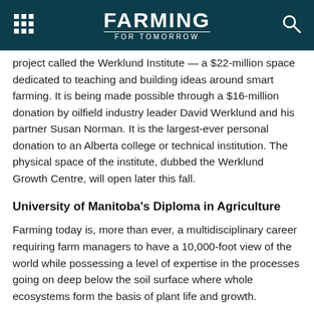FARMING FOR TOMORROW
project called the Werklund Institute — a $22-million space dedicated to teaching and building ideas around smart farming. It is being made possible through a $16-million donation by oilfield industry leader David Werklund and his partner Susan Norman. It is the largest-ever personal donation to an Alberta college or technical institution. The physical space of the institute, dubbed the Werklund Growth Centre, will open later this fall.
University of Manitoba's Diploma in Agriculture
Farming today is, more than ever, a multidisciplinary career requiring farm managers to have a 10,000-foot view of the world while possessing a level of expertise in the processes going on deep below the soil surface where whole ecosystems form the basis of plant life and growth.
That is what the University of Manitoba (U of M) had in mind while